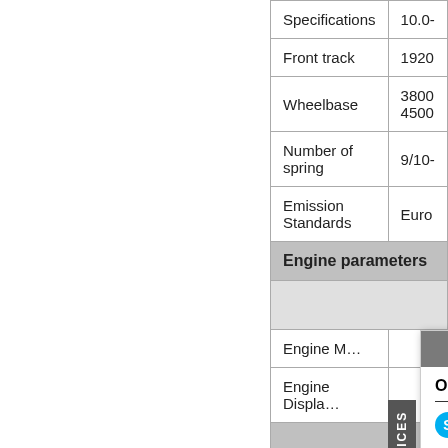| Specifications | Value |
| --- | --- |
| Front track | 1920 |
| Wheelbase | 3800
4500 |
| Number of spring | 9/10- |
| Emission Standards | Euro |
| Engine parameters |  |
|  |  |
| Engine M… |  |
| Engine Displacement |  |
| Chassis Description |  |